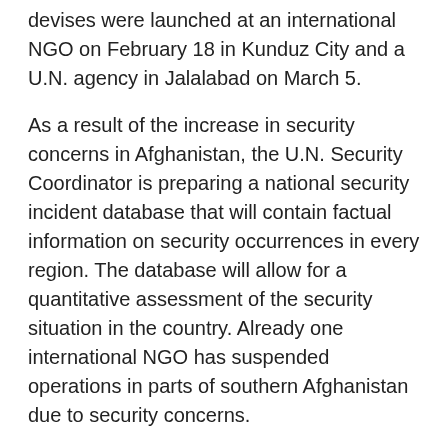devises were launched at an international NGO on February 18 in Kunduz City and a U.N. agency in Jalalabad on March 5.
As a result of the increase in security concerns in Afghanistan, the U.N. Security Coordinator is preparing a national security incident database that will contain factual information on security occurrences in every region. The database will allow for a quantitative assessment of the security situation in the country. Already one international NGO has suspended operations in parts of southern Afghanistan due to security concerns.
Attacks on Coalition forces continued along the eastern border of Pakistan, especially in Kunar and Nangahar Provinces. In addition, besides the Coalition operations, the poppy eradication campaign and the mix of inter-factional politics and ethnic divisions has increased volatility in the east.